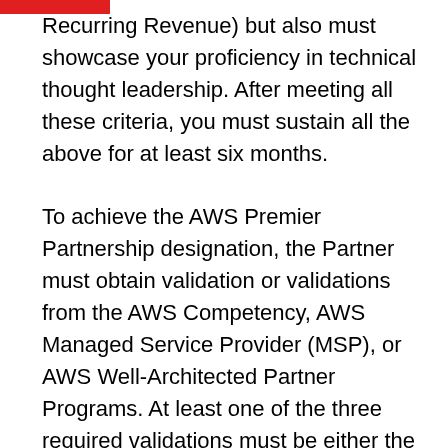Recurring Revenue) but also must showcase your proficiency in technical thought leadership. After meeting all these criteria, you must sustain all the above for at least six months.

To achieve the AWS Premier Partnership designation, the Partner must obtain validation or validations from the AWS Competency, AWS Managed Service Provider (MSP), or AWS Well-Architected Partner Programs. At least one of the three required validations must be either the AWS MSP or AWS DevOps Competency designation.